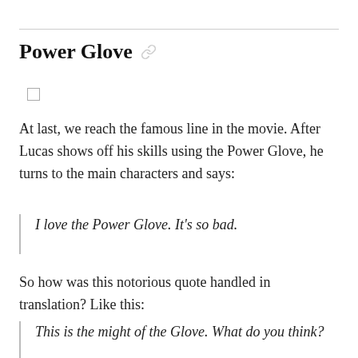Power Glove
At last, we reach the famous line in the movie. After Lucas shows off his skills using the Power Glove, he turns to the main characters and says:
I love the Power Glove. It's so bad.
So how was this notorious quote handled in translation? Like this:
This is the might of the Glove. What do you think?